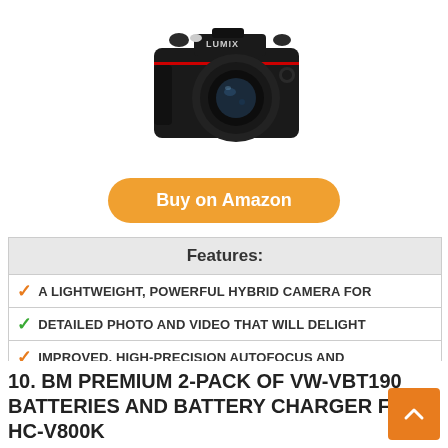[Figure (photo): Panasonic LUMIX mirrorless camera with a large lens, black body, shown from the front at a slight angle]
Buy on Amazon
| Features: |
| --- |
| A LIGHTWEIGHT, POWERFUL HYBRID CAMERA FOR |
| DETAILED PHOTO AND VIDEO THAT WILL DELIGHT |
| IMPROVED, HIGH-PRECISION AUTOFOCUS AND |
| EXPANDED FEATURES OFFER NEW LEVELS OF |
10. BM PREMIUM 2-PACK OF VW-VBT190 BATTERIES AND BATTERY CHARGER FOR HC-V800K